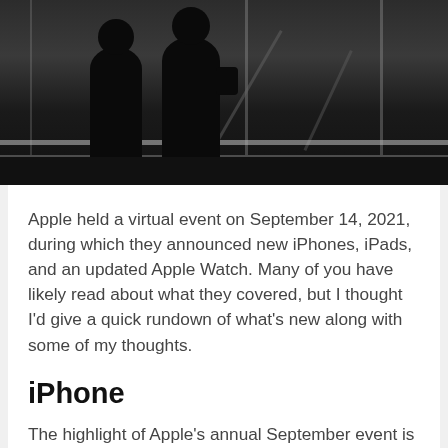[Figure (photo): Black and white photograph of two silhouettes of people standing on a glass-railed elevated walkway or bridge, viewed from below, with structural metal framing visible overhead.]
Apple held a virtual event on September 14, 2021, during which they announced new iPhones, iPads, and an updated Apple Watch. Many of you have likely read about what they covered, but I thought I'd give a quick rundown of what's new along with some of my thoughts.
iPhone
The highlight of Apple's annual September event is usually the iPhone, and this year was no different. Apple announced the iPhone 13 and iPhone 13 Pro